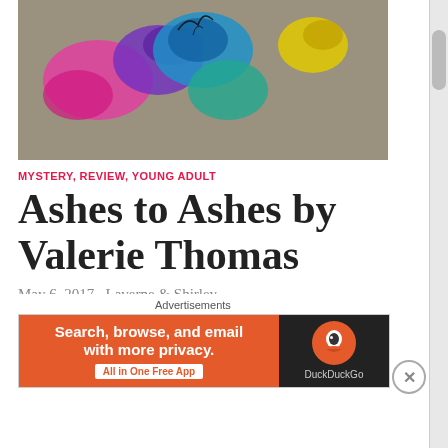[Figure (photo): Colorful chalk or paint spilled on asphalt/sand surface with pink, blue, purple, teal, yellow colors against a grey granular background]
MYSTERY, REVIEW, YOUNG ADULT
Ashes to Ashes by Valerie Thomas
May 6, 2017   Laverne & Shirley
Natalie and her brother, Ben, are new students and want to make friends fast. When they attend the high school bonfire,
Advertisements
[Figure (screenshot): DuckDuckGo advertisement banner: orange left panel with text 'Search, browse, and email with more privacy. All in One Free App' and dark right panel with DuckDuckGo logo]